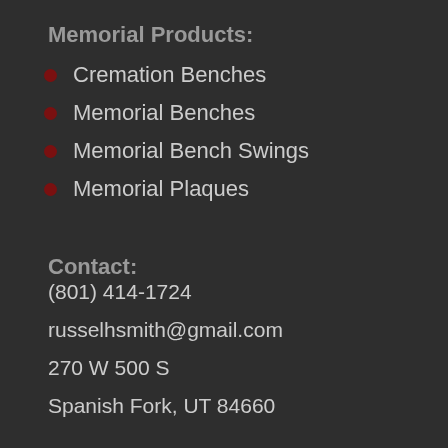Memorial Products:
Cremation Benches
Memorial Benches
Memorial Bench Swings
Memorial Plaques
Contact:
(801) 414-1724
russelhsmith@gmail.com
270 W 500 S
Spanish Fork, UT 84660